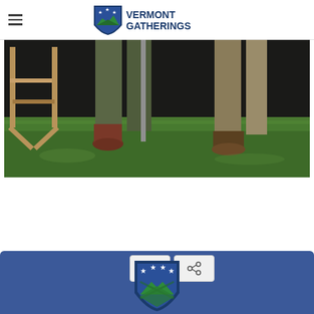Vermont Gatherings
[Figure (photo): Outdoor scene showing legs and boots of people standing on grass, with a wooden folding chair visible on the left side. The photo is cropped to show only from about knee-height down.]
[Figure (logo): Vermont Gatherings logo with shield icon and social share buttons (Facebook and generic share), overlapping a blue banner footer at the bottom of the page.]